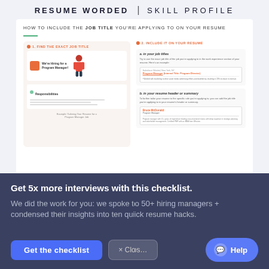RESUME WORDED | SKILL PROFILE
[Figure (infographic): Infographic titled 'HOW TO INCLUDE THE JOB TITLE YOU'RE APPLYING TO ON YOUR RESUME' with two columns: left column shows '1. FIND THE EXACT JOB TITLE' with a mock job posting for Program Manager, right column shows '2. INCLUDE IT ON YOUR RESUME' with subsections a. In your job titles and b. In your resume header or summary]
Get 5x more interviews with this checklist.
We did the work for you: we spoke to 50+ hiring managers + condensed their insights into ten quick resume hacks.
Get the checklist
× Close
Help